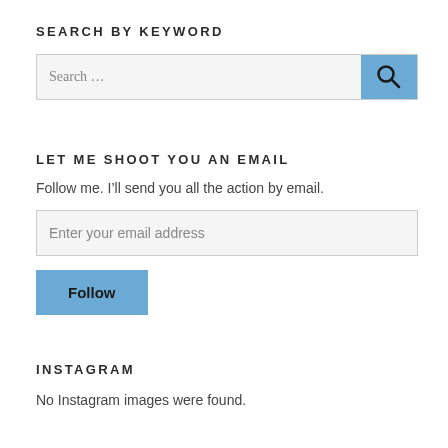SEARCH BY KEYWORD
Search …
LET ME SHOOT YOU AN EMAIL
Follow me. I'll send you all the action by email.
Enter your email address
Follow
INSTAGRAM
No Instagram images were found.